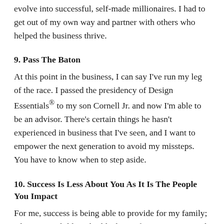evolve into successful, self-made millionaires. I had to get out of my own way and partner with others who helped the business thrive.
9. Pass The Baton
At this point in the business, I can say I've run my leg of the race. I passed the presidency of Design Essentials® to my son Cornell Jr. and now I'm able to be an advisor. There's certain things he hasn't experienced in business that I've seen, and I want to empower the next generation to avoid my missteps. You have to know when to step aside.
10. Success Is Less About You As It Is The People You Impact
For me, success is being able to provide for my family; educate my children; build a house for my parents; and equip my children with the opportunity to come into this business